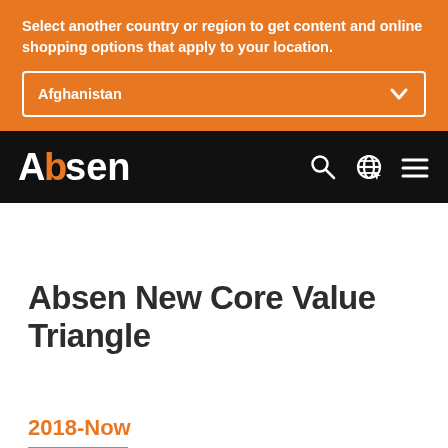Select another country or region to get content and online shopping options that apply to your location.
Afghanistan
[Figure (logo): Absen company logo — white text 'Absen' with orange accent on black background navigation bar]
Absen New Core Value Triangle
2018-Now